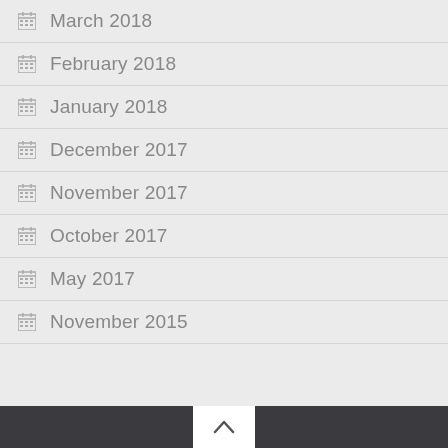March 2018
February 2018
January 2018
December 2017
November 2017
October 2017
May 2017
November 2015